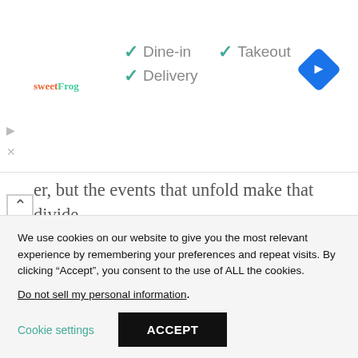[Figure (screenshot): sweetFrog ad banner showing Dine-in, Takeout, Delivery options with checkmarks and a Google Maps navigation icon]
er, but the events that unfold make that divide explicit. Daisy Edgar-Jones is excellent in this episode that she largely carries, with Connell still home in Ireland as Marianne goes abroad to Sweden. With little dialogue, Edgar-Jones is able to give Marianne's emotions an outlet through her
We use cookies on our website to give you the most relevant experience by remembering your preferences and repeat visits. By clicking “Accept”, you consent to the use of ALL the cookies.
Do not sell my personal information.
Cookie settings
ACCEPT